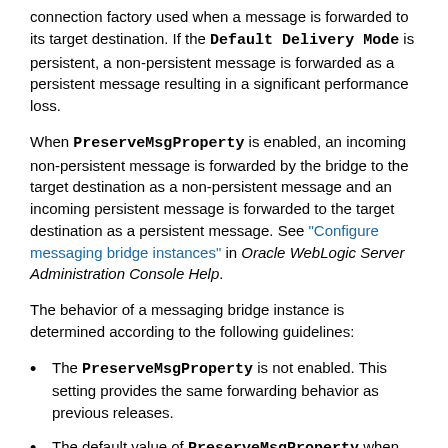connection factory used when a message is forwarded to its target destination. If the Default Delivery Mode is persistent, a non-persistent message is forwarded as a persistent message resulting in a significant performance loss.
When PreserveMsgProperty is enabled, an incoming non-persistent message is forwarded by the bridge to the target destination as a non-persistent message and an incoming persistent message is forwarded to the target destination as a persistent message. See "Configure messaging bridge instances" in Oracle WebLogic Server Administration Console Help.
The behavior of a messaging bridge instance is determined according to the following guidelines:
The PreserveMsgProperty is not enabled. This setting provides the same forwarding behavior as previous releases.
The default value of PreserveMsgProperty when configuring a messaging bridge instance is not enabled